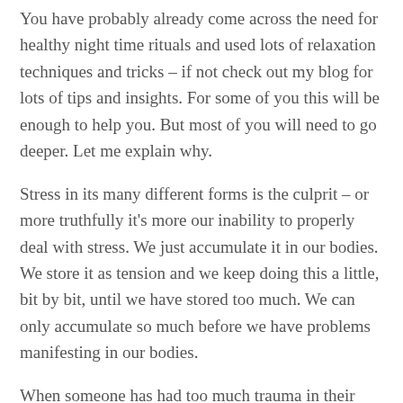You have probably already come across the need for healthy night time rituals and used lots of relaxation techniques and tricks – if not check out my blog for lots of tips and insights. For some of you this will be enough to help you. But most of you will need to go deeper. Let me explain why.
Stress in its many different forms is the culprit – or more truthfully it's more our inability to properly deal with stress. We just accumulate it in our bodies. We store it as tension and we keep doing this a little, bit by bit, until we have stored too much. We can only accumulate so much before we have problems manifesting in our bodies.
When someone has had too much trauma in their